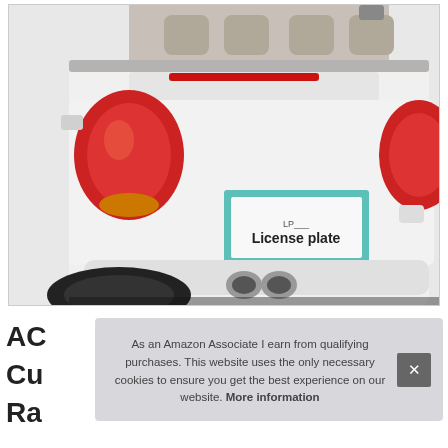[Figure (photo): Rear view of a white convertible car with a teal/mint license plate frame labeled 'License plate' on the bumper]
AC
Cu
Ra
As an Amazon Associate I earn from qualifying purchases. This website uses the only necessary cookies to ensure you get the best experience on our website. More information